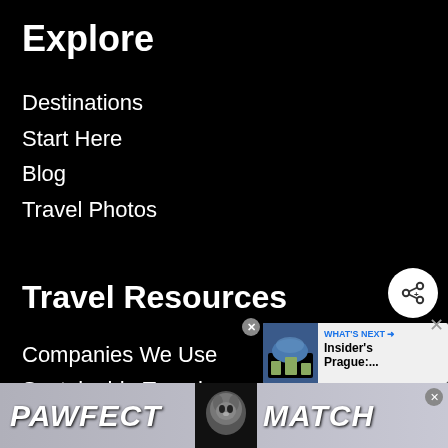Explore
Destinations
Start Here
Blog
Travel Photos
Travel Resources
Companies We Use
Sustainable Travel
Travel Guides
Trekking Guides
Food Guides
[Figure (screenshot): Share button (circle with share icon)]
[Figure (screenshot): What's Next promo box: Insider's Prague:....]
[Figure (screenshot): PAWFECT MATCH advertisement banner at bottom]